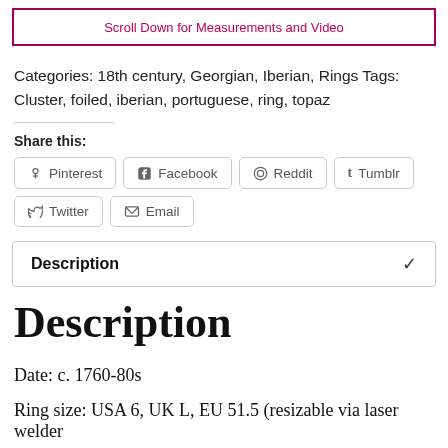Scroll Down for Measurements and Video
Categories: 18th century, Georgian, Iberian, Rings Tags: Cluster, foiled, iberian, portuguese, ring, topaz
Share this:
Pinterest
Facebook
Reddit
Tumblr
Twitter
Email
Description
Description
Date: c. 1760-80s
Ring size: USA 6, UK L, EU 51.5 (resizable via laser welder